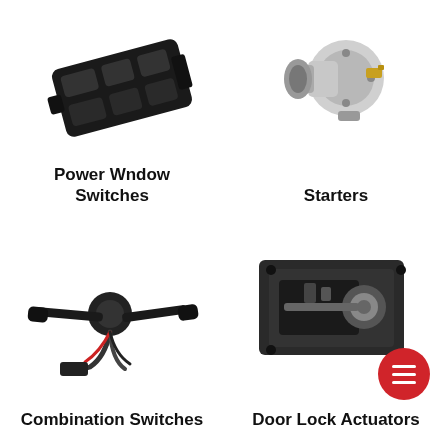[Figure (photo): Power window switch panel, black, multi-button automotive part]
Power Wndow Switches
[Figure (photo): Starter motor, silver cylindrical automotive starter]
Starters
[Figure (photo): Combination switch assembly with wiring harness, black automotive steering column switch]
Combination Switches
[Figure (photo): Door lock actuator, dark mechanical automotive assembly]
Door Lock Actuators